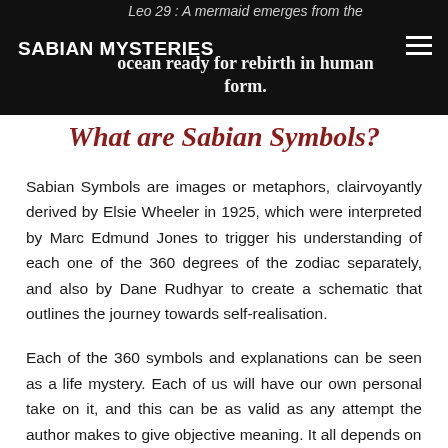SABIAN MYSTERIES | Leo 29 : A mermaid emerges from the ocean ready for rebirth in human form.
What are Sabian Symbols?
Sabian Symbols are images or metaphors, clairvoyantly derived by Elsie Wheeler in 1925, which were interpreted by Marc Edmund Jones to trigger his understanding of each one of the 360 degrees of the zodiac separately, and also by Dane Rudhyar to create a schematic that outlines the journey towards self-realisation.
Each of the 360 symbols and explanations can be seen as a life mystery. Each of us will have our own personal take on it, and this can be as valid as any attempt the author makes to give objective meaning. It all depends on